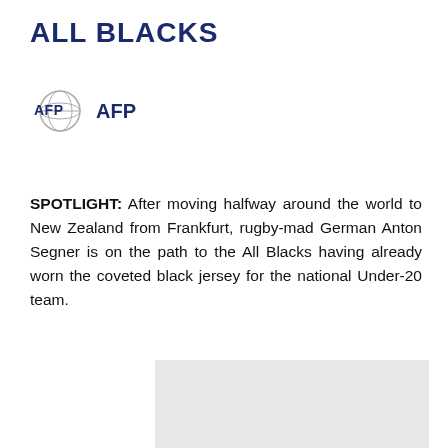ALL BLACKS
[Figure (logo): AFP logo — globe graphic with AFP text]
AFP
SPOTLIGHT: After moving halfway around the world to New Zealand from Frankfurt, rugby-mad German Anton Segner is on the path to the All Blacks having already worn the coveted black jersey for the national Under-20 team.
[Figure (other): Advertisement placeholder block with text ADVERTISEMENT and close button]